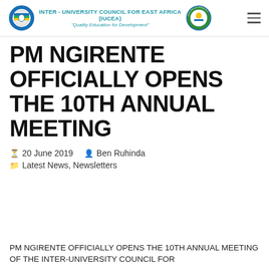INTER - UNIVERSITY COUNCIL FOR EAST AFRICA (IUCEA) "Quality Education for Development"
PM NGIRENTE OFFICIALLY OPENS THE 10TH ANNUAL MEETING
20 June 2019   Ben Ruhinda
Latest News, Newsletters
PM NGIRENTE OFFICIALLY OPENS THE 10TH ANNUAL MEETING OF THE INTER-UNIVERSITY COUNCIL FOR